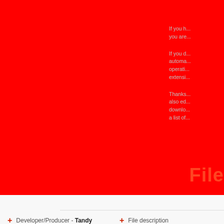If you h... you are...
If you d... automa... operati... extensi...
Thanks... also ed... downlo... a list of...
File
+ Developer/Producer - Tandy
+ File description